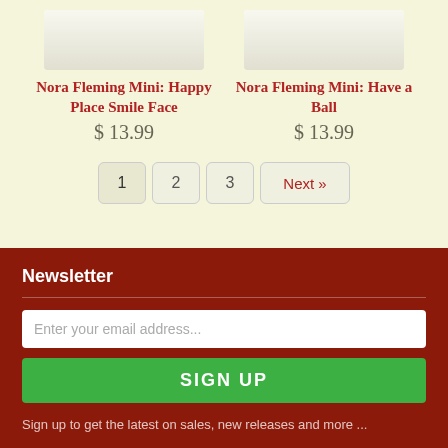[Figure (photo): Partial product image top - white ceramic item on cream background (cropped)]
Nora Fleming Mini: Happy Place Smile Face
$ 13.99
[Figure (photo): Partial product image top - white ceramic item on cream background (cropped)]
Nora Fleming Mini: Have a Ball
$ 13.99
1 2 3 Next »
Newsletter
Enter your email address...
SIGN UP
Sign up to get the latest on sales, new releases and more ...